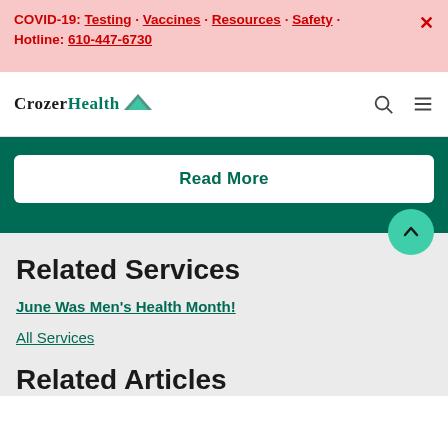COVID-19: Testing · Vaccines · Resources · Safety · Hotline: 610-447-6730
[Figure (logo): CrozerHealth logo with teal bird icon]
Read More
Related Services
June Was Men's Health Month!
All Services
Related Articles